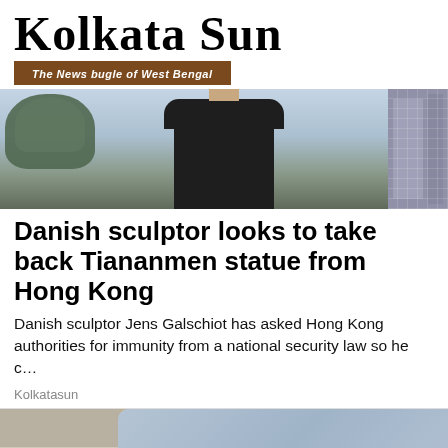Kolkata Sun — The News bugle of West Bengal
[Figure (photo): A man in a dark jacket photographed from below against a sky with trees on the left and city buildings on the right]
Danish sculptor looks to take back Tiananmen statue from Hong Kong
Danish sculptor Jens Galschiot has asked Hong Kong authorities for immunity from a national security law so he c…
Kolkatasun
[Figure (photo): A person in a grey shirt holding or examining a red/inflamed knee]